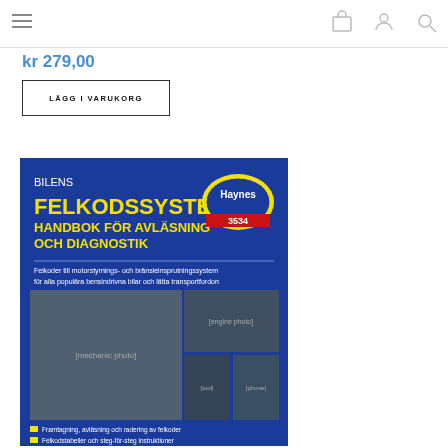Navigation bar with hamburger menu and icons for cart, user, and search
kr 279,00
LÄGG I VARUKORG
[Figure (photo): Book cover of 'Bilens Felkodssystem - Handbok för avläsning och diagnostik' (Haynes 3534). Blue cover with yellow title text, Haynes logo, photos of a mechanic working on a car engine, a diagnostic tool, and a smartphone. Text includes: Felkoder till motorstyrnings- och bränsleinsprutningssystem för alla populära bensindrivna bilar och lätta transportfordon. Bullet points: Framtagning, avläsning och radering av felkoder; Felkodstabeller och steg-för-steg instruktioner.]